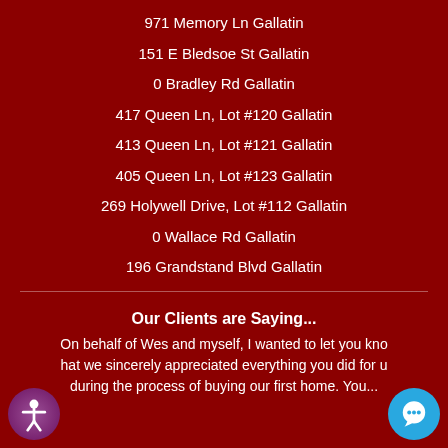971 Memory Ln Gallatin
151 E Bledsoe St Gallatin
0 Bradley Rd Gallatin
417 Queen Ln, Lot #120 Gallatin
413 Queen Ln, Lot #121 Gallatin
405 Queen Ln, Lot #123 Gallatin
269 Holywell Drive, Lot #112 Gallatin
0 Wallace Rd Gallatin
196 Grandstand Blvd Gallatin
Our Clients are Saying...
On behalf of Wes and myself, I wanted to let you know that we sincerely appreciated everything you did for us during the process of buying our first home. You...